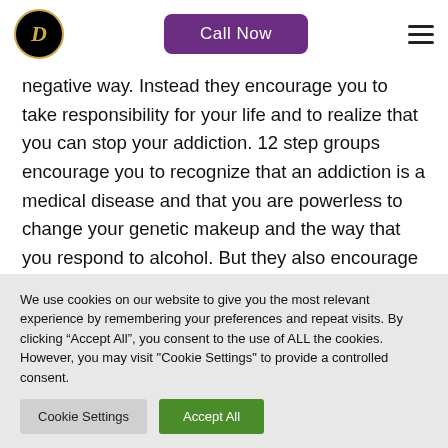Call Now
negative way. Instead they encourage you to take responsibility for your life and to realize that you can stop your addiction. 12 step groups encourage you to recognize that an addiction is a medical disease and that you are powerless to change your genetic makeup and the way that you respond to alcohol. But they also encourage you to realize that you have the power to
We use cookies on our website to give you the most relevant experience by remembering your preferences and repeat visits. By clicking “Accept All”, you consent to the use of ALL the cookies. However, you may visit "Cookie Settings" to provide a controlled consent.